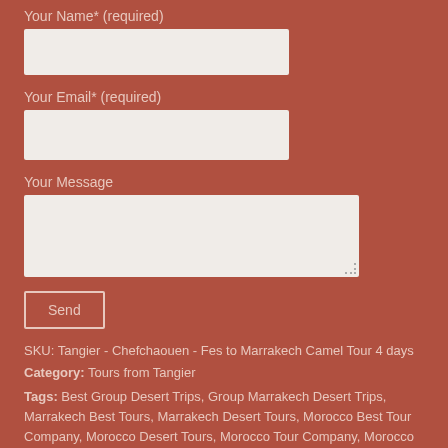Your Name* (required)
Your Email* (required)
Your Message
Send
SKU: Tangier - Chefchaouen - Fes to Marrakech Camel Tour 4 days
Category: Tours from Tangier
Tags: Best Group Desert Trips, Group Marrakech Desert Trips, Marrakech Best Tours, Marrakech Desert Tours, Morocco Best Tour Company, Morocco Desert Tours, Morocco Tour Company, Morocco Tours, Morocco Travel Company, Safe Tours Morocco, Tours From Casablanca, Trusted Tours of Morocco
Description
Additional information